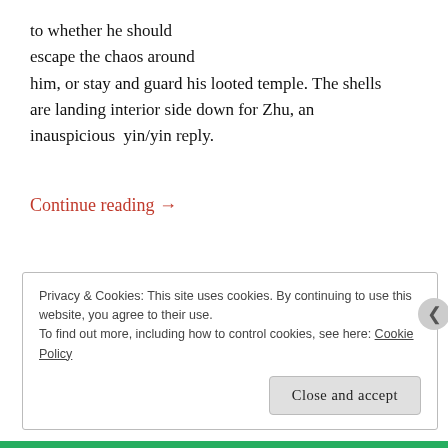to whether he should escape the chaos around him, or stay and guard his looted temple. The shells are landing interior side down for Zhu, an inauspicious  yin/yin reply.
Continue reading →
Privacy & Cookies: This site uses cookies. By continuing to use this website, you agree to their use.
To find out more, including how to control cookies, see here: Cookie Policy
Close and accept